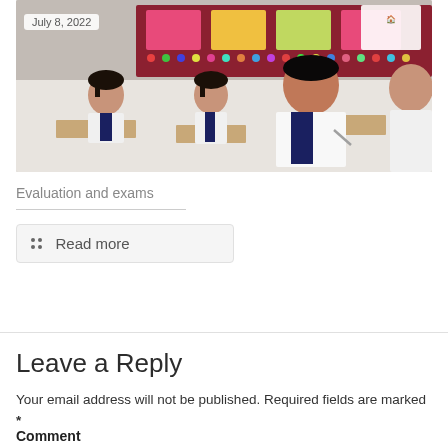[Figure (photo): Classroom scene showing students in white school uniforms with dark ties sitting at desks writing, with colorful bulletin boards in the background. Date badge 'July 8, 2022' overlays the top-left.]
Evaluation and exams
Read more
Leave a Reply
Your email address will not be published. Required fields are marked *
Comment